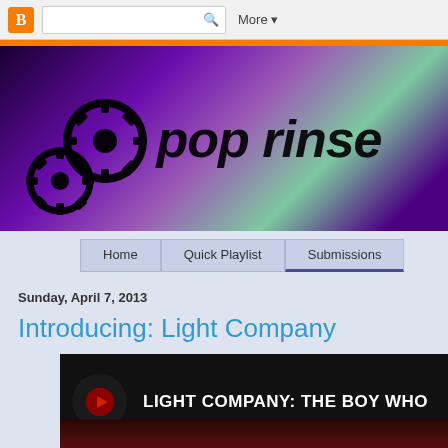Blogger toolbar with search box and More button
[Figure (illustration): Pop Rinse blog banner with purple/green abstract background, black gear illustrations on left, and bold italic 'pop rinse' text in black]
Home | Quick Playlist | Submissions
Sunday, April 7, 2013
Introducing: Light Company
[Figure (screenshot): Video thumbnail with black background, circular icon on left, and text 'LIGHT COMPANY: THE BOY WHO' in white]